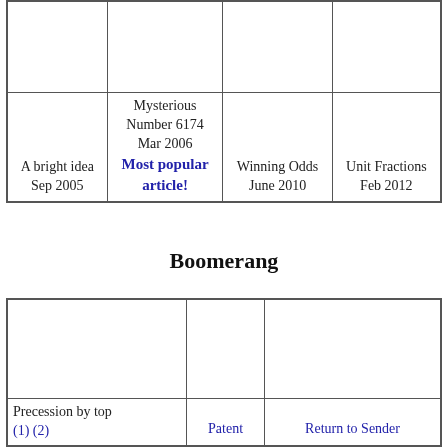|  |  |  |  |
| A bright idea
Sep 2005 | Mysterious Number 6174
Mar 2006
Most popular article! | Winning Odds
June 2010 | Unit Fractions
Feb 2012 |
Boomerang
|  |  |  |
| Precession by top
(1) (2) | Patent | Return to Sender |